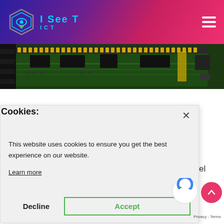[Figure (logo): I See T ICT website logo with hexagonal icon and cyan text on gradient pink/purple/blue header with hamburger menu icon]
[Figure (photo): Close-up photograph of a green printed circuit board (PCB) with chips and components visible]
Cookies:
This website uses cookies to ensure you get the best experience on our website.
Learn more
Decline
Accept
the ZIF design which allowed a chip to be dropped into the